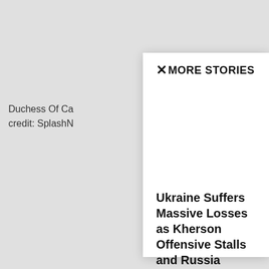Duchess Of Ca... credit: SplashN...
MORE STORIES
Ukraine Suffers Massive Losses as Kherson Offensive Stalls and Russia Counterattacks
Alexander Mercouris - September 3, 2022